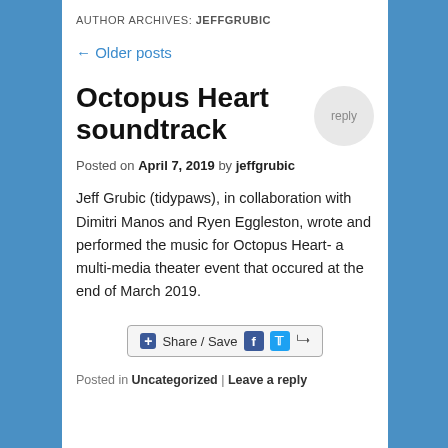AUTHOR ARCHIVES: jeffgrubic
← Older posts
Octopus Heart soundtrack
Posted on April 7, 2019 by jeffgrubic
Jeff Grubic (tidypaws), in collaboration with Dimitri Manos and Ryen Eggleston, wrote and performed the music for Octopus Heart- a multi-media theater event that occured at the end of March 2019.
Share / Save
Posted in Uncategorized | Leave a reply